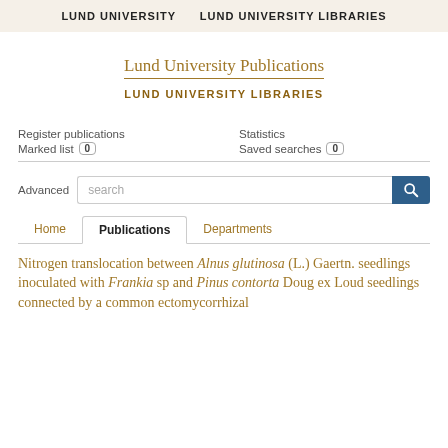LUND UNIVERSITY    LUND UNIVERSITY LIBRARIES
Lund University Publications
LUND UNIVERSITY LIBRARIES
Register publications   Statistics
Marked list 0   Saved searches 0
Advanced   search
Home   Publications   Departments
Nitrogen translocation between Alnus glutinosa (L.) Gaertn. seedlings inoculated with Frankia sp and Pinus contorta Doug ex Loud seedlings connected by a common ectomycorrhizal